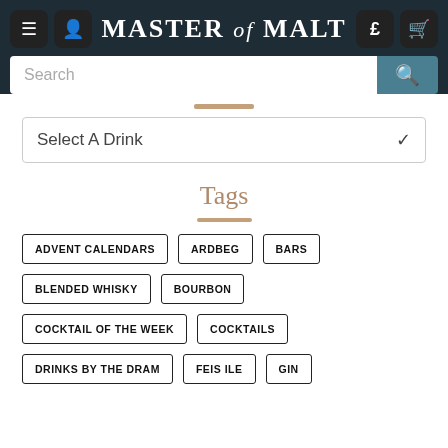MASTER of MALT
Search
Select A Drink
Tags
ADVENT CALENDARS
ARDBEG
BARS
BLENDED WHISKY
BOURBON
COCKTAIL OF THE WEEK
COCKTAILS
DRINKS BY THE DRAM
FEIS ILE
GIN